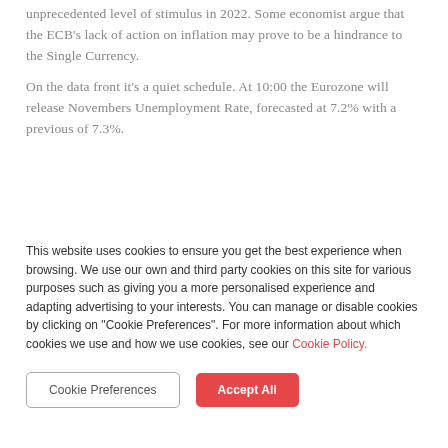unprecedented level of stimulus in 2022. Some economist argue that the ECB's lack of action on inflation may prove to be a hindrance to the Single Currency.
On the data front it's a quiet schedule. At 10:00 the Eurozone will release Novembers Unemployment Rate, forecasted at 7.2% with a previous of 7.3%.
This website uses cookies to ensure you get the best experience when browsing. We use our own and third party cookies on this site for various purposes such as giving you a more personalised experience and adapting advertising to your interests. You can manage or disable cookies by clicking on "Cookie Preferences". For more information about which cookies we use and how we use cookies, see our Cookie Policy.
Cookie Preferences
Accept All